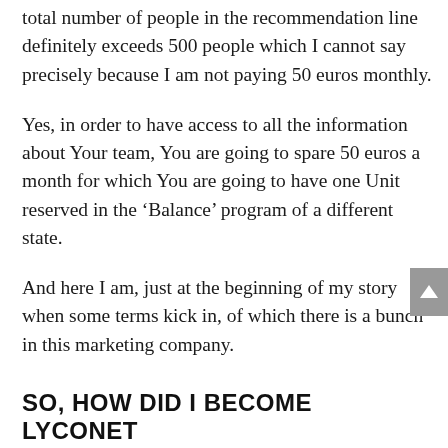total number of people in the recommendation line definitely exceeds 500 people which I cannot say precisely because I am not paying 50 euros monthly.
Yes, in order to have access to all the information about Your team, You are going to spare 50 euros a month for which You are going to have one Unit reserved in the ‘Balance’ program of a different state.
And here I am, just at the beginning of my story when some terms kick in, of which there is a bunch in this marketing company.
SO, HOW DID I BECOME LYCONET